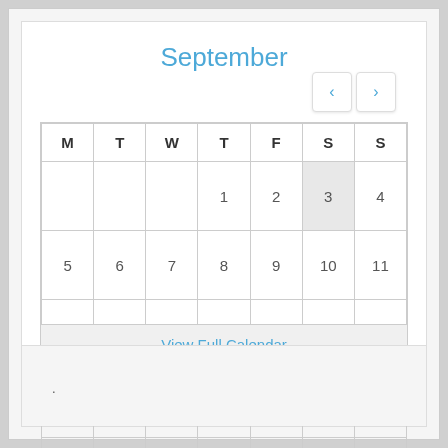September
| M | T | W | T | F | S | S |
| --- | --- | --- | --- | --- | --- | --- |
|  |  |  | 1 | 2 | 3 | 4 |
| 5 | 6 | 7 | 8 | 9 | 10 | 11 |
| 12 | 13 | 14 | 15 | 16 | 17 | 18 |
| 19 | 20 | 21 | 22 | 23 | 24 | 25 |
| 26 | 27 | 28 | 29 | 30 |  |  |
View Full Calendar
.